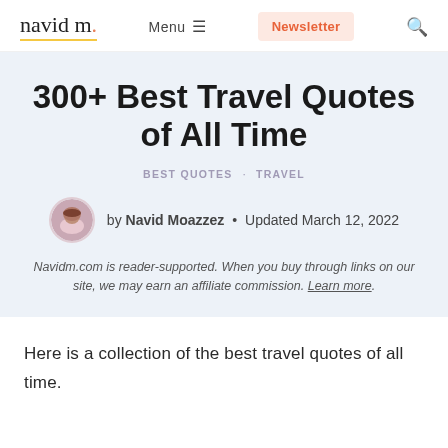navid m.  Menu ≡  Newsletter  🔍
300+ Best Travel Quotes of All Time
BEST QUOTES · TRAVEL
by Navid Moazzez • Updated March 12, 2022
Navidm.com is reader-supported. When you buy through links on our site, we may earn an affiliate commission. Learn more.
Here is a collection of the best travel quotes of all time.